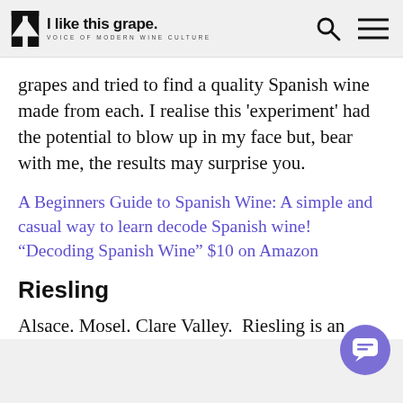I like this grape. VOICE OF MODERN WINE CULTURE
grapes and tried to find a quality Spanish wine made from each. I realise this ‘experiment’ had the potential to blow up in my face but, bear with me, the results may surprise you.
A Beginners Guide to Spanish Wine: A simple and casual way to learn decode Spanish wine! “Decoding Spanish Wine” $10 on Amazon
Riesling
Alsace. Mosel. Clare Valley.  Riesling is an